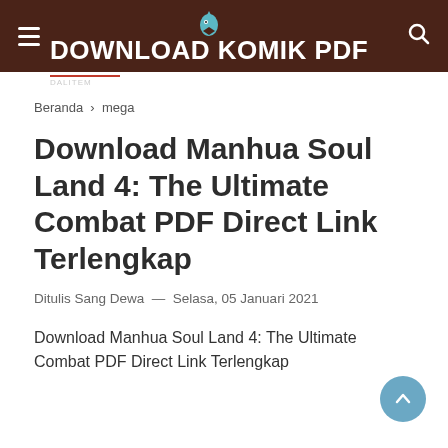DOWNLOAD KOMIK PDF
Beranda › mega
Download Manhua Soul Land 4: The Ultimate Combat PDF Direct Link Terlengkap
Ditulis Sang Dewa — Selasa, 05 Januari 2021
Download Manhua Soul Land 4: The Ultimate Combat PDF Direct Link Terlengkap